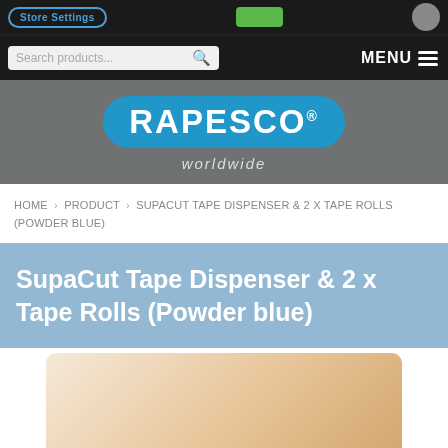Store Settings | MENU
[Figure (logo): RAPESCO worldwide logo on grey banner background]
HOME › PRODUCT › SUPACUT TAPE DISPENSER & 2 X TAPE ROLLS (POWDER BLUE)
SupaCut Tape Dispenser & 2 x Tape Rolls (Powder blue)
[Figure (photo): Partial product image showing what appears to be a tape dispenser on a cream/beige background]